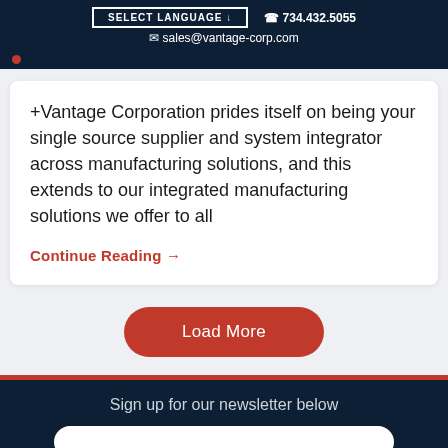SELECT LANGUAGE ↓   734.432.5055   sales@vantage-corp.com
+Vantage Corporation prides itself on being your single source supplier and system integrator across manufacturing solutions, and this extends to our integrated manufacturing solutions we offer to all
Continue Reading →
Load More
Sign up for our newsletter below